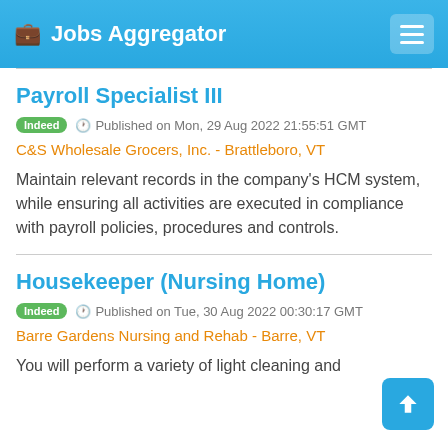Jobs Aggregator
Payroll Specialist III
Indeed  Published on Mon, 29 Aug 2022 21:55:51 GMT
C&S Wholesale Grocers, Inc. - Brattleboro, VT
Maintain relevant records in the company's HCM system, while ensuring all activities are executed in compliance with payroll policies, procedures and controls.
Housekeeper (Nursing Home)
Indeed  Published on Tue, 30 Aug 2022 00:30:17 GMT
Barre Gardens Nursing and Rehab - Barre, VT
You will perform a variety of light cleaning and